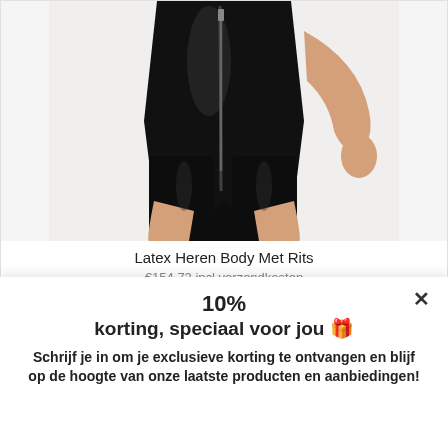[Figure (photo): Product photo of a black latex men's bodysuit with zipper, worn on a male model. The image shows the torso and upper legs area.]
Latex Heren Body Met Rits
€154,73 incl verzendkosten
10%
korting, speciaal voor jou 🎁
Schrijf je in om je exclusieve korting te ontvangen en blijf op de hoogte van onze laatste producten en aanbiedingen!